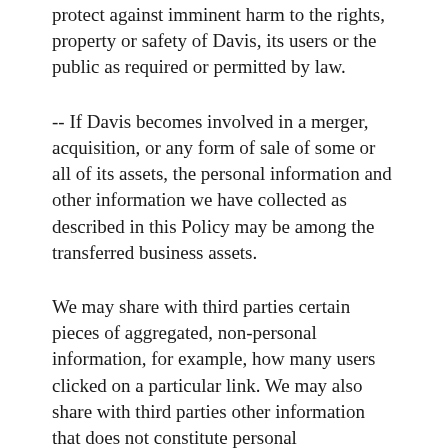protect against imminent harm to the rights, property or safety of Davis, its users or the public as required or permitted by law.
-- If Davis becomes involved in a merger, acquisition, or any form of sale of some or all of its assets, the personal information and other information we have collected as described in this Policy may be among the transferred business assets.
We may share with third parties certain pieces of aggregated, non-personal information, for example, how many users clicked on a particular link. We may also share with third parties other information that does not constitute personal information. Such information does not identify you individually.
Please contact us at the address below for any additional questions about the management or use